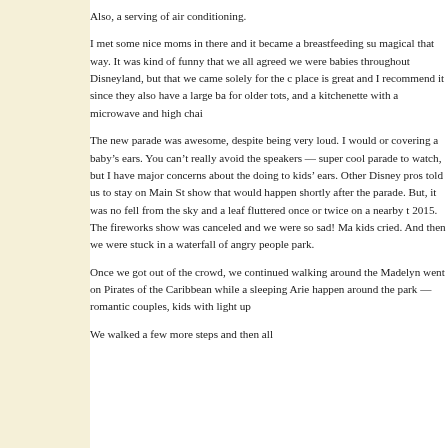Also, a serving of air conditioning.
I met some nice moms in there and it became a breastfeeding su magical that way. It was kind of funny that we all agreed we were babies throughout Disneyland, but that we came solely for the c place is great and I recommend it since they also have a large ba for older tots, and a kitchenette with a microwave and high chai
The new parade was awesome, despite being very loud. I would or covering a baby's ears. You can't really avoid the speakers — super cool parade to watch, but I have major concerns about the doing to kids' ears. Other Disney pros told us to stay on Main St show that would happen shortly after the parade. But, it was no fell from the sky and a leaf fluttered once or twice on a nearby t 2015. The fireworks show was canceled and we were so sad! Ma kids cried. And then we were stuck in a waterfall of angry people park.
Once we got out of the crowd, we continued walking around the Madelyn went on Pirates of the Caribbean while a sleeping Arie happen around the park — romantic couples, kids with light up
We walked a few more steps and then all